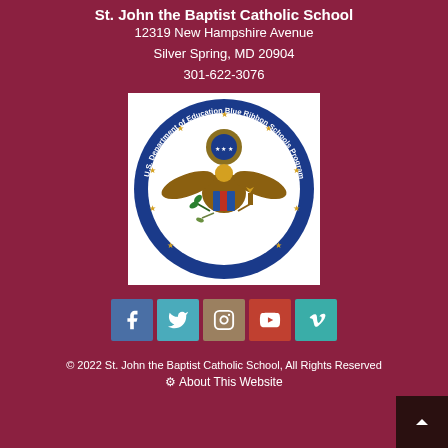St. John the Baptist Catholic School
12319 New Hampshire Avenue
Silver Spring, MD 20904
301-622-3076
[Figure (logo): U.S. Department of Education Blue Ribbon Schools Program 2010 seal — eagle with shield, olive branch and torch, surrounded by blue circular band with gold stars]
[Figure (infographic): Social media icons: Facebook (blue), Twitter (teal), Instagram (brown), YouTube (red), Vimeo (teal)]
© 2022 St. John the Baptist Catholic School, All Rights Reserved
About This Website